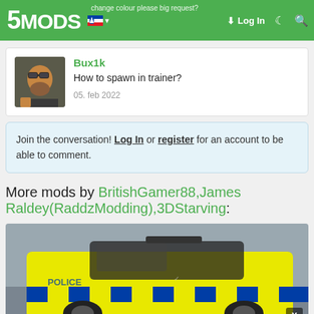5MODS | change colour please big request? | Log In
Bux1k
How to spawn in trainer?
05. feb 2022
Join the conversation! Log In or register for an account to be able to comment.
More mods by BritishGamer88,James Raldey(RaddzModding),3DStarving:
[Figure (photo): A yellow and blue checkered police car (UK livery) photographed from a low angle in a parking area.]